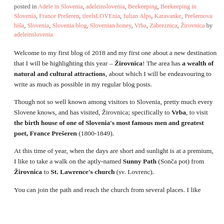posted in Adele in Slovenia, adeleinslovenia, Beekeeping, Beekeeping in Slovenia, France Prešeren, ifeelsLOVEnia, Julian Alps, Karavanke, Prešernova hiša, Slovenia, Slovenia blog, Slovenian honey, Vrba, Zabreznica, Žirovnica by adeleinslovenia
Welcome to my first blog of 2018 and my first one about a new destination that I will be highlighting this year – Žirovnica! The area has a wealth of natural and cultural attractions, about which I will be endeavouring to write as much as possible in my regular blog posts.
Though not so well known among visitors to Slovenia, pretty much every Slovene knows, and has visited, Žirovnica; specifically to Vrba, to visit the birth house of one of Slovenia's most famous men and greatest poet, France Prešeren (1800-1849).
At this time of year, when the days are short and sunlight is at a premium, I like to take a walk on the aptly-named Sunny Path (Sonča pot) from Žirovnica to St. Lawrence's church (sv. Lovrenc).
You can join the path and reach the church from several places. I like